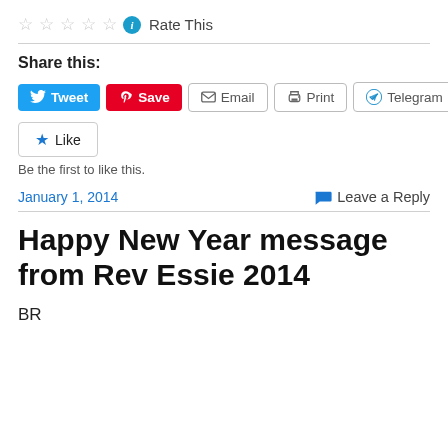[Figure (other): Star rating row with 5 empty stars, an info icon, and 'Rate This' text]
Share this:
[Figure (other): Social sharing buttons: Tweet, Save, Email, Print, Telegram]
[Figure (other): Like button with star icon]
Be the first to like this.
January 1, 2014    Leave a Reply
Happy New Year message from Rev Essie 2014
BR